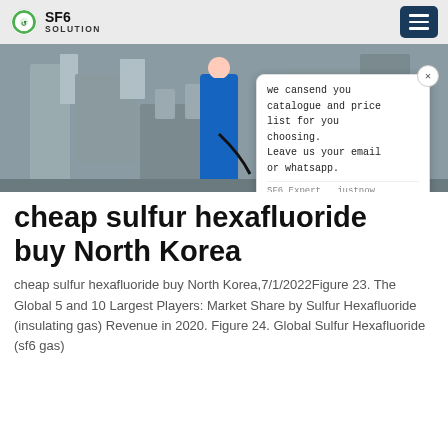SF6 SOLUTION
[Figure (photo): Worker in blue coveralls working on electrical transformer equipment, industrial setting with grey metal structures]
[Figure (screenshot): Chat popup widget: 'we cansend you catalogue and price list for you choosing. Leave us your email or whatsapp.' with SF6 Expert avatar, 'justnow' timestamp, and Write input area]
cheap sulfur hexafluoride buy North Korea
cheap sulfur hexafluoride buy North Korea,7/1/2022Figure 23. The Global 5 and 10 Largest Players: Market Share by Sulfur Hexafluoride (insulating gas) Revenue in 2020. Figure 24. Global Sulfur Hexafluoride (sf6 gas)